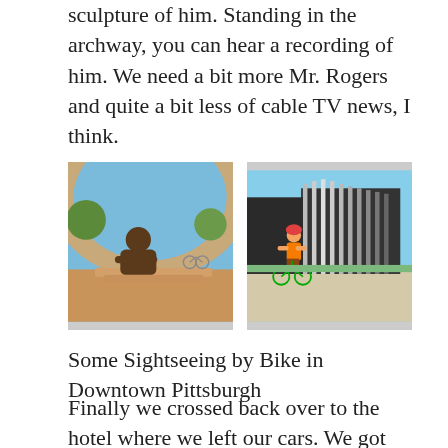Fred Rogers memorial is near — it has a great sculpture of him. Standing in the archway, you can hear a recording of him. We need a bit more Mr. Rogers and quite a bit less of cable TV news, I think.
[Figure (photo): Bronze sculpture of Fred Rogers seated in an archway with trees and blue sky visible behind, a bicycle parked in the background.]
[Figure (photo): A cyclist wearing an orange shirt and helmet with a bicycle stands in front of a modern memorial wall structure with tall vertical elements, on a sunny day.]
Some Sightseeing by Bike in Downtown Pittsburgh
Finally we crossed back over to the hotel where we left our cars. We got cleaned up in the restroom, and packed up our bikes and gear for